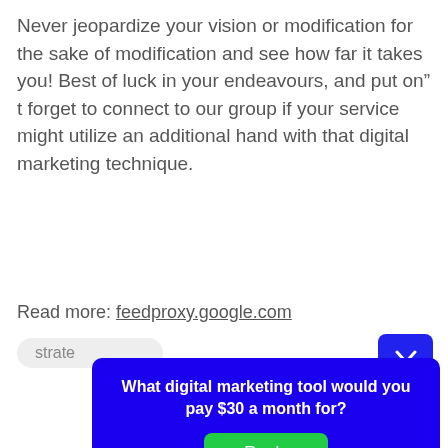Never jeopardize your vision or modification for the sake of modification and see how far it takes you! Best of luck in your endeavours, and put on” t forget to connect to our group if your service might utilize an additional hand with that digital marketing technique.
Read more: feedproxy.google.com
strate
What digital marketing tool would you pay $30 a month for?
Reply